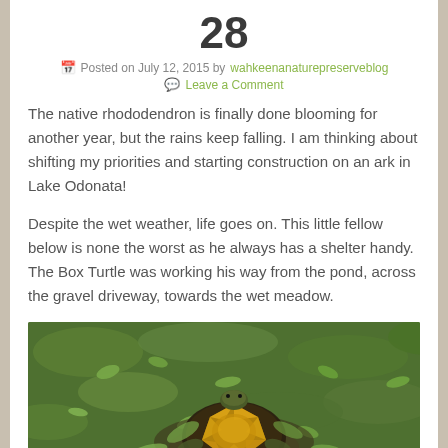28
Posted on July 12, 2015 by wahkeenanaturepreserveblog
Leave a Comment
The native rhododendron is finally done blooming for another year, but the rains keep falling. I am thinking about shifting my priorities and starting construction on an ark in Lake Odonata!
Despite the wet weather, life goes on. This little fellow below is none the worst as he always has a shelter handy. The Box Turtle was working his way from the pond, across the gravel driveway, towards the wet meadow.
[Figure (photo): A Box Turtle photographed on grass/ground cover, showing its shell with yellow-orange markings, surrounded by green vegetation.]